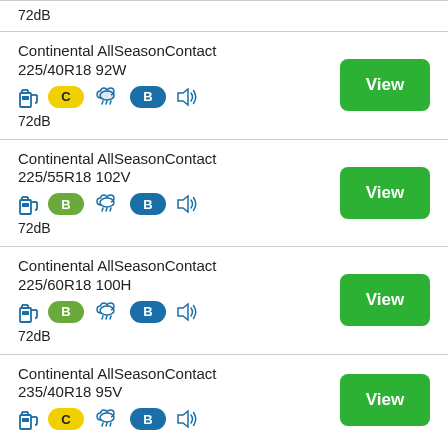72dB
Continental AllSeasonContact 225/40R18 92W — C B 72dB
Continental AllSeasonContact 225/55R18 102V — B B 72dB
Continental AllSeasonContact 225/60R18 100H — B B 72dB
Continental AllSeasonContact 235/40R18 95V — C B